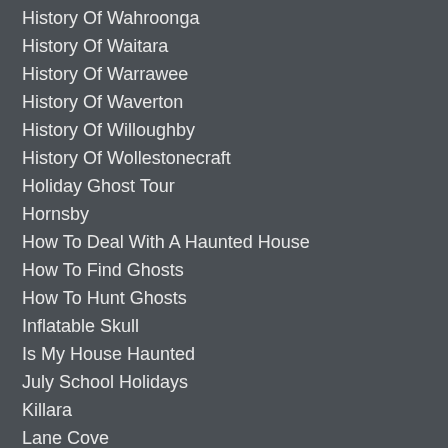History Of Wahroonga
History Of Waitara
History Of Warrawee
History Of Waverton
History Of Willoughby
History Of Wollestonecraft
Holiday Ghost Tour
Hornsby
How To Deal With A Haunted House
How To Find Ghosts
How To Hunt Ghosts
Inflatable Skull
Is My House Haunted
July School Holidays
Killara
Lane Cove
Lavender Bay
Lindfield
Liz Vincent Ghost Tours
Lower Picton Ghost Tour
Messenger Ghost